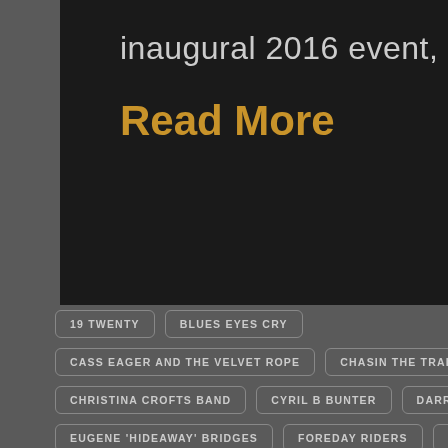inaugural 2016 event, …
Read More
19 TWENTY
BLUES EYES CRY
CASS EAGER AND THE VELVET ROPE
CHASIN THE TRAIN
CHRISTINA CROFTS BAND
CYRIL B BUNTER
DARREN JACK
EUGENE 'HIDEAWAY' BRIDGES
FOREDAY RIDERS
GAWURRA
GIRRAKOOL BLUES FESTIVAL & BBQ
GRIZZLEE TRAIN
HARPER AND MIDWEST KIND
HAT FITZ & CARA
HOT 8 BRASS BAND
KRISTEN LEE MORRIS
LACHY DOLEY GROUP
MAL EASTICK
MESCALERO